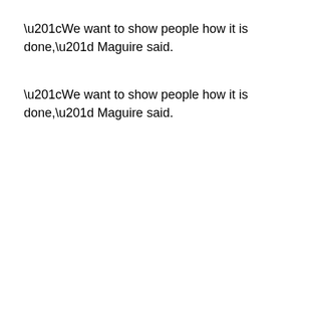“We want to show people how it is done,” Maguire said.
[Figure (photo): Broken image placeholder for a photo of a paranormal investigation at a Transylvanian castle connected to the Dracula myth.]
In September, Tampa’s Peggy Maguire led a paranormal investigation of the Transylvanian castle connected to the Dracula myth.
[ Paul Guzzo ]
Teams around the world investigated 125 sites on the same day.
Eight teams live-streamed a portion of their work, including Maguire in Transylvania and those investigating the Rhode Island house that inspired the Conjuring movie and Gettysburg’s Tillie Pierce House Inn, allegedly haunted by Civil War ghosts.
Maguire believes her assignment was the most exciting.